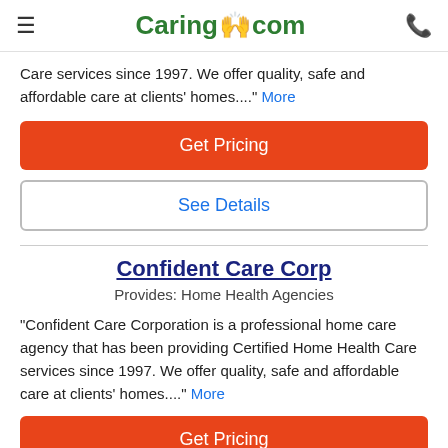Caring.com
Care services since 1997. We offer quality, safe and affordable care at clients' homes...." More
Get Pricing
See Details
Confident Care Corp
Provides: Home Health Agencies
"Confident Care Corporation is a professional home care agency that has been providing Certified Home Health Care services since 1997. We offer quality, safe and affordable care at clients' homes...." More
Get Pricing